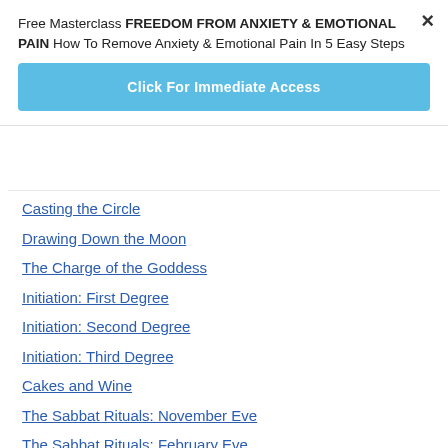Free Masterclass FREEDOM FROM ANXIETY & EMOTIONAL PAIN How To Remove Anxiety & Emotional Pain In 5 Easy Steps
Click For Immediate Access
Casting the Circle
Drawing Down the Moon
The Charge of the Goddess
Initiation: First Degree
Initiation: Second Degree
Initiation: Third Degree
Cakes and Wine
The Sabbat Rituals: November Eve
The Sabbat Rituals: February Eve
The Sabbat Rituals: May Eve
The Sabbat Rituals: August Eve
On Chants